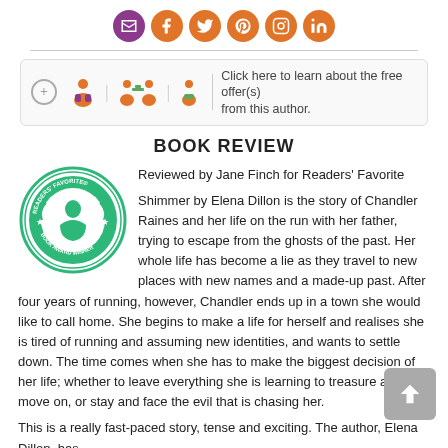[Figure (infographic): Row of social media icon circles: mail (purple), Facebook, Twitter, Pinterest, Instagram, LinkedIn (all orange)]
[Figure (infographic): Author follow promo bar with plus button, author figures icons, and text: Click here to learn about the free offer(s) from this author.]
BOOK REVIEW
[Figure (logo): Readers' Favorite Book Award Winner green circular medallion badge]
Reviewed by Jane Finch for Readers’ Favorite

Shimmer by Elena Dillon is the story of Chandler Raines and her life on the run with her father, trying to escape from the ghosts of the past. Her whole life has become a lie as they travel to new places with new names and a made-up past. After four years of running, however, Chandler ends up in a town she would like to call home. She begins to make a life for herself and realises she is tired of running and assuming new identities, and wants to settle down. The time comes when she has to make the biggest decision of her life; whether to leave everything she is learning to treasure and move on, or stay and face the evil that is chasing her.

This is a really fast-paced story, tense and exciting. The author, Elena Dillon, has